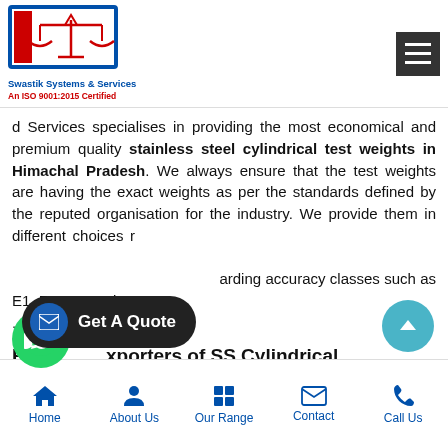Swastik Systems & Services – An ISO 9001:2015 Certified
d Services specialises in providing the most economical and premium quality stainless steel cylindrical test weights in Himachal Pradesh. We always ensure that the test weights are having the exact weights as per the standards defined by the reputed organisation for the industry. We provide them in different choices regarding accuracy classes such as E1, E2, F1, and F2.
Reputed Exporters of SS Cylindrical
Swastik System and Services is a Delhi-based
Home  About Us  Our Range  Contact  Call Us